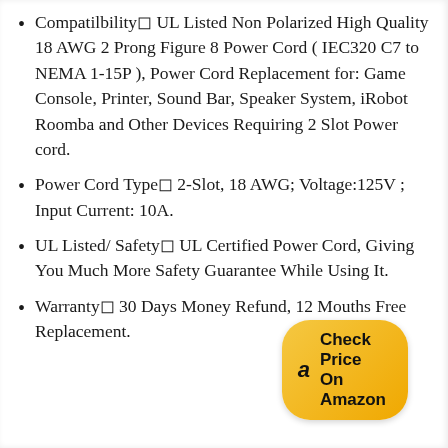Compatibility◻ UL Listed Non Polarized High Quality 18 AWG 2 Prong Figure 8 Power Cord ( IEC320 C7 to NEMA 1-15P ), Power Cord Replacement for: Game Console, Printer, Sound Bar, Speaker System, iRobot Roomba and Other Devices Requiring 2 Slot Power cord.
Power Cord Type◻ 2-Slot, 18 AWG; Voltage:125V ; Input Current: 10A.
UL Listed/ Safety◻ UL Certified Power Cord, Giving You Much More Safety Guarantee While Using It.
Warranty◻ 30 Days Money Refund, 12 Mouths Free Replacement.